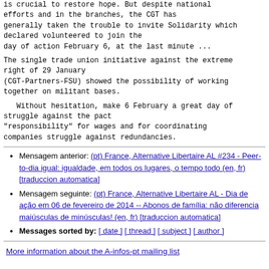is crucial to restore hope. But despite national efforts and in the branches, the CGT has generally taken the trouble to invite Solidarity which declared volunteered to join the day of action February 6, at the last minute ...
The single trade union initiative against the extreme right of 29 January (CGT-Partners-FSU) showed the possibility of working together on militant bases.
Without hesitation, make 6 February a great day of struggle against the pact "responsibility" for wages and for coordinating companies struggle against redundancies.
Mensagem anterior: (pt) France, Alternative Libertaire AL #234 - Peer-to-dia igual: igualdade, em todos os lugares, o tempo todo (en, fr) [traduccion automatica]
Mensagem seguinte: (pt) France, Alternative Libertaire AL - Dia de ação em 06 de fevereiro de 2014 -- Abonos de família: não diferencia maiúsculas de minúsculas! (en, fr) [traduccion automatica]
Messages sorted by: [ date ] [ thread ] [ subject ] [ author ]
More information about the A-infos-pt mailing list